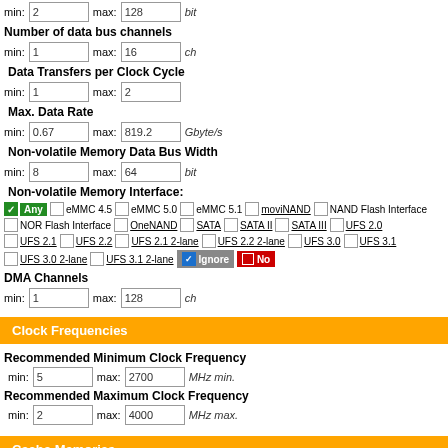min: 2  max: 128  bit
Number of data bus channels
min: 1  max: 16  ch
Data Transfers per Clock Cycle
min: 1  max: 2
Max. Data Rate
min: 0.67  max: 819.2  Gbyte/s
Non-volatile Memory Data Bus Width
min: 8  max: 64  bit
Non-volatile Memory Interface:
Any  eMMC 4.5  eMMC 5.0  eMMC 5.1  moviNAND  NAND Flash Interface  NOR Flash Interface  OneNAND  SATA  SATA II  SATA III  UFS 2.0  UFS 2.1  UFS 2.2  UFS 2.1 2-lane  UFS 2.2 2-lane  UFS 3.0  UFS 3.1  UFS 3.0 2-lane  UFS 3.1 2-lane  Ignore  No
DMA Channels
min: 1  max: 128  ch
Clock Frequencies
Recommended Minimum Clock Frequency
min: 5  max: 2700  MHz min.
Recommended Maximum Clock Frequency
min: 2  max: 4000  MHz max.
Cache Memories